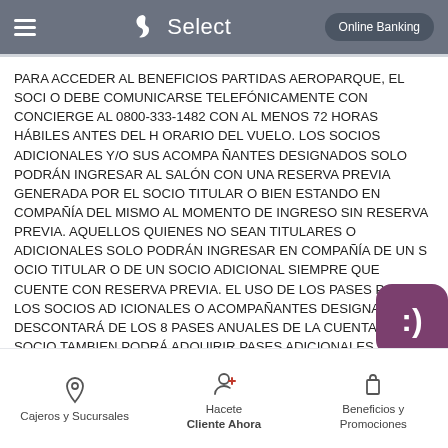Select | Online Banking
PARA ACCEDER AL BENEFICIOS PARTIDAS AEROPARQUE, EL SOCIO DEBE COMUNICARSE TELEFÓNICAMENTE CON CONCIERGE AL 0800-333-1482 CON AL MENOS 72 HORAS HÁBILES ANTES DEL HORARIO DEL VUELO. LOS SOCIOS ADICIONALES Y/O SUS ACOMPAÑANTES DESIGNADOS SOLO PODRÁN INGRESAR AL SALÓN CON UNA RESERVA PREVIA GENERADA POR EL SOCIO TITULAR O BIEN ESTANDO EN COMPAÑÍA DEL MISMO AL MOMENTO DE INGRESO SIN RESERVA PREVIA. AQUELLOS QUIENES NO SEAN TITULARES O ADICIONALES SOLO PODRÁN INGRESAR EN COMPAÑÍA DE UN SOCIO TITULAR O DE UN SOCIO ADICIONAL SIEMPRE QUE CUENTE CON RESERVA PREVIA. EL USO DE LOS PASES POR LOS SOCIOS ADICIONALES O ACOMPAÑANTES DESIGNADOS SE DESCONTARÁ DE LOS 8 PASES ANUALES DE LA CUENTA. EL SOCIO TAMBIEN PODRÁ ADQUIRIR PASES ADICIONALES EN LAS SALAS SEGÚN LA TARIFA ESTABLECIDA EN WWW.AEROPUERTOSVIPCLUB.COM.AR. SUJETO A DISPONIBILIDAD. EN CASO DE REQUERIR PASES ADICIONALES BERÁN SER ABONADOS CON LA TARJETA AMERICAN EXPRES
Cajeros y Sucursales | Hacete Cliente Ahora | Beneficios y Promociones